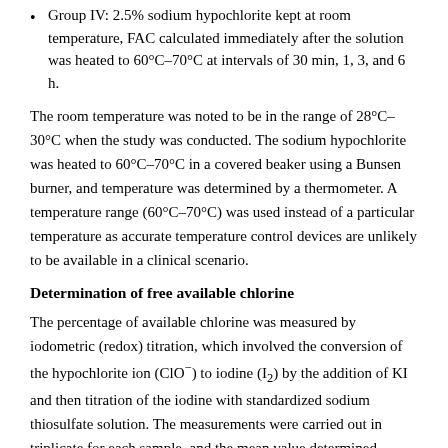Group IV: 2.5% sodium hypochlorite kept at room temperature, FAC calculated immediately after the solution was heated to 60°C–70°C at intervals of 30 min, 1, 3, and 6 h.
The room temperature was noted to be in the range of 28°C–30°C when the study was conducted. The sodium hypochlorite was heated to 60°C–70°C in a covered beaker using a Bunsen burner, and temperature was determined by a thermometer. A temperature range (60°C–70°C) was used instead of a particular temperature as accurate temperature control devices are unlikely to be available in a clinical scenario.
Determination of free available chlorine
The percentage of available chlorine was measured by iodometric (redox) titration, which involved the conversion of the hypochlorite ion (ClO⁻) to iodine (I₂) by the addition of KI and then titration of the iodine with standardized sodium thiosulfate solution. The measurements were carried out in triplicate for each sample, and the mean value determined.
Measuring the pH